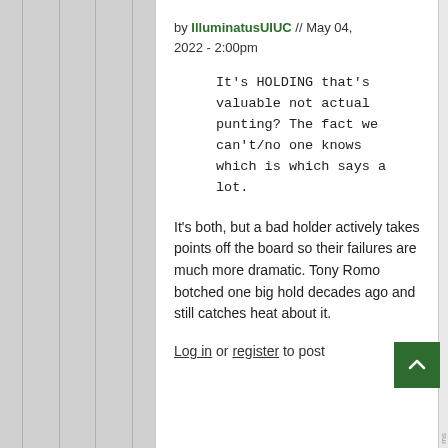by IlluminatusUIUC // May 04, 2022 - 2:00pm
It's HOLDING that's valuable not actual punting? The fact we can't/no one knows which is which says a lot.
It's both, but a bad holder actively takes points off the board so their failures are much more dramatic. Tony Romo botched one big hold decades ago and still catches heat about it.
Log in or register to post